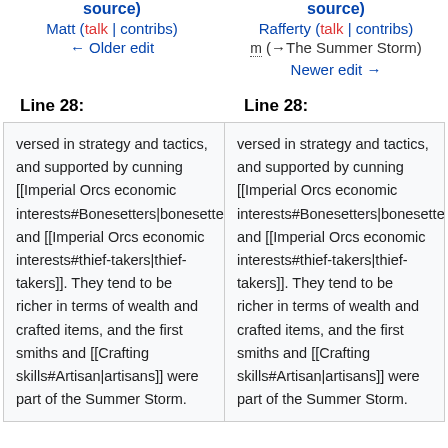source) Matt (talk | contribs) ← Older edit
source) Rafferty (talk | contribs) m (→The Summer Storm) Newer edit →
Line 28:
Line 28:
versed in strategy and tactics, and supported by cunning [[Imperial Orcs economic interests#Bonesetters|bonesetters]] and [[Imperial Orcs economic interests#thief-takers|thief-takers]]. They tend to be richer in terms of wealth and crafted items, and the first smiths and [[Crafting skills#Artisan|artisans]] were part of the Summer Storm.
versed in strategy and tactics, and supported by cunning [[Imperial Orcs economic interests#Bonesetters|bonesetters]] and [[Imperial Orcs economic interests#thief-takers|thief-takers]]. They tend to be richer in terms of wealth and crafted items, and the first smiths and [[Crafting skills#Artisan|artisans]] were part of the Summer Storm.